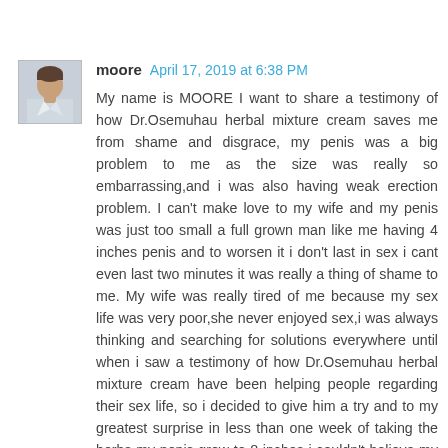moore  April 17, 2019 at 6:38 PM

My name is MOORE I want to share a testimony of how Dr.Osemuhau herbal mixture cream saves me from shame and disgrace, my penis was a big problem to me as the size was really so embarrassing,and i was also having weak erection problem. I can't make love to my wife and my penis was just too small a full grown man like me having 4 inches penis and to worsen it i don't last in sex i cant even last two minutes it was really a thing of shame to me. My wife was really tired of me because my sex life was very poor,she never enjoyed sex,i was always thinking and searching for solutions everywhere until when i saw a testimony of how Dr.Osemuhau herbal mixture cream have been helping people regarding their sex life, so i decided to give him a try and to my greatest surprise in less than one week of taking the herbs my penis grow to 8 inches i couldn't believe my eyes and as i speak now my penis is now 8 inches and i do not have week erection again. I can make love to my wife longer in bed. And my marriage is now stable,my wife now enjoy me very well in bed. can contact him drosemuhau@gmail.com {} or call or what-apps him through +2348168714427